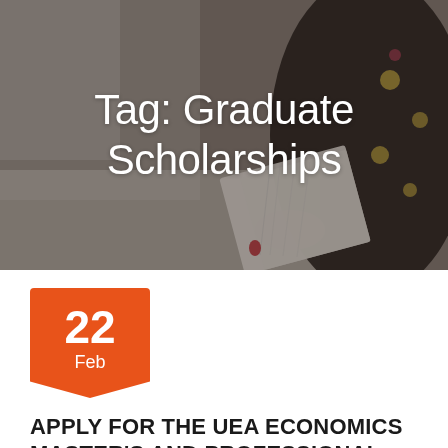[Figure (photo): Hero banner photo of a person reading a book, overlaid with dark semi-transparent gradient. White text reads 'Tag: Graduate Scholarships'.]
Tag: Graduate Scholarships
22 Feb
APPLY FOR THE UEA ECONOMICS MASTER'S AND PROFESSIONAL SCHOLARSHIPS FOR INTERNATIONAL STUDENTS 2022/23